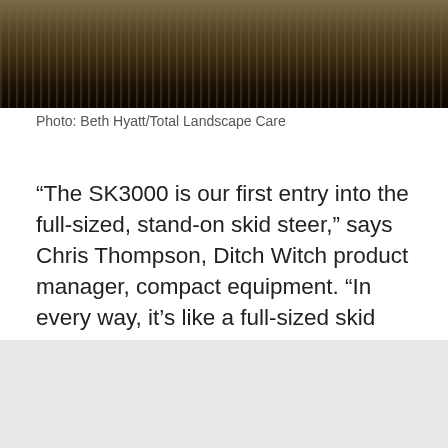[Figure (photo): Top portion of an outdoor photo showing dirt/soil ground and dark machinery or tire, with grassy/earthy tones.]
Photo: Beth Hyatt/Total Landscape Care
“The SK3000 is our first entry into the full-sized, stand-on skid steer,” says Chris Thompson, Ditch Witch product manager, compact equipment. “In every way, it’s like a full-sized skid steer with horsepower, lift capacity, etc. So, the idea was that we’d been making these other skid steers for a long time, and people kept asking for more capabilities.”